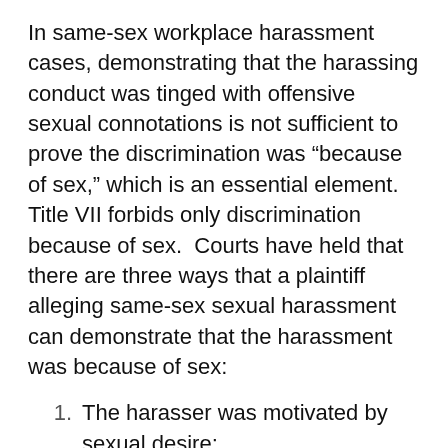In same-sex workplace harassment cases, demonstrating that the harassing conduct was tinged with offensive sexual connotations is not sufficient to prove the discrimination was "because of sex," which is an essential element. Title VII forbids only discrimination because of sex.  Courts have held that there are three ways that a plaintiff alleging same-sex sexual harassment can demonstrate that the harassment was because of sex:
1. The harasser was motivated by sexual desire;
2. The harasser was expressing a general hostility to the presence of one sex in the workplace; or